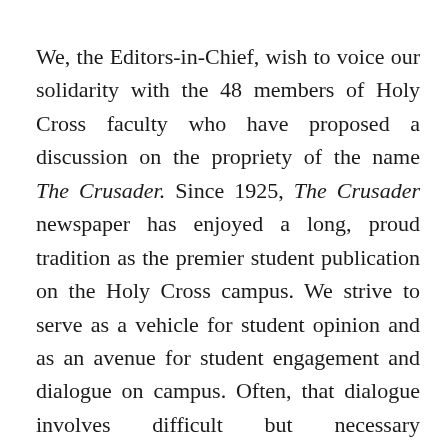We, the Editors-in-Chief, wish to voice our solidarity with the 48 members of Holy Cross faculty who have proposed a discussion on the propriety of the name The Crusader. Since 1925, The Crusader newspaper has enjoyed a long, proud tradition as the premier student publication on the Holy Cross campus. We strive to serve as a vehicle for student opinion and as an avenue for student engagement and dialogue on campus. Often, that dialogue involves difficult but necessary conversations. Today, the difficult conversation surrounds the use of our own moniker.
In 1955, the editors of this newspaper adopted the name Crusader in place of the former Tomahawk, announcing that the new name would better represent the values of Holy Cross and of the